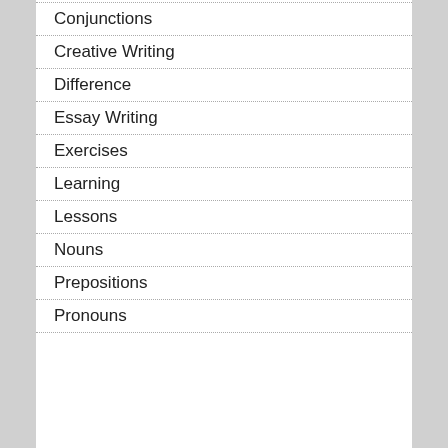Conjunctions
Creative Writing
Difference
Essay Writing
Exercises
Learning
Lessons
Nouns
Prepositions
Pronouns